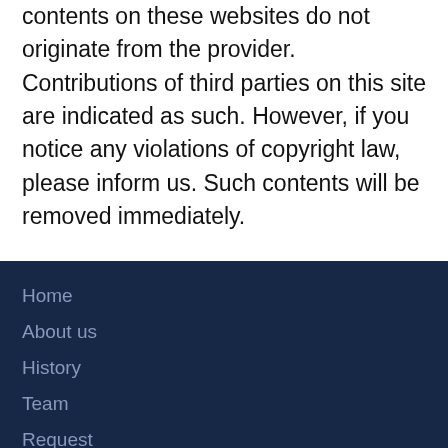contents on these websites do not originate from the provider. Contributions of third parties on this site are indicated as such. However, if you notice any violations of copyright law, please inform us. Such contents will be removed immediately.
Home
About us
History
Team
Request
Site notice
Disclaimer
Privacy police